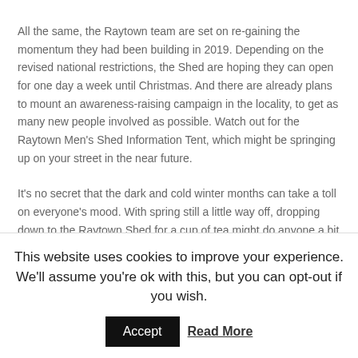All the same, the Raytown team are set on regaining the momentum they had been building in 2019. Depending on the revised national restrictions, the Shed are hoping they can open for one day a week until Christmas. And there are already plans to mount an awareness-raising campaign in the locality, to get as many new people involved as possible. Watch out for the Raytown Men's Shed Information Tent, which might be springing up on your street in the near future.
It's no secret that the dark and cold winter months can take a toll on everyone's mood. With spring still a little way off, dropping down to the Raytown Shed for a cup of tea might do anyone a bit of good.
This website uses cookies to improve your experience. We'll assume you're ok with this, but you can opt-out if you wish. Accept Read More